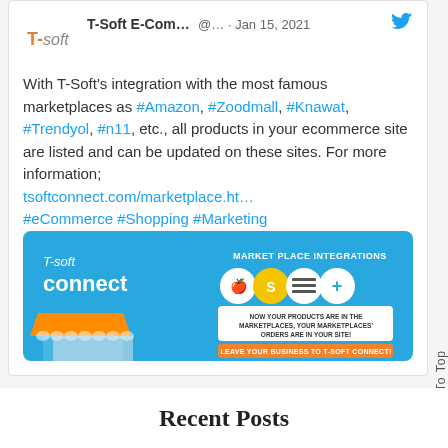T-Soft E-Com... @... · Jan 15, 2021
With T-Soft's integration with the most famous marketplaces as #Amazon, #Zoodmall, #Knawat, #Trendyol, #n11, etc., all products in your ecommerce site are listed and can be updated on these sites. For more information; tsoftconnect.com/marketplace.ht… #eCommerce #Shopping #Marketing
[Figure (illustration): T-Soft Connect advertisement banner showing marketplace integrations with store icon, marketplace logos, and text: 'MARKET PLACE INTEGRATIONS', 'NOW YOUR PRODUCTS ARE IN THE MARKETPLACES, YOUR MARKETPLACES' ORDERS ARE IN YOUR SITE!', 'LEAVE YOUR BUSINESS TO T-SOFT CONNECT!']
Back To Top
Recent Posts